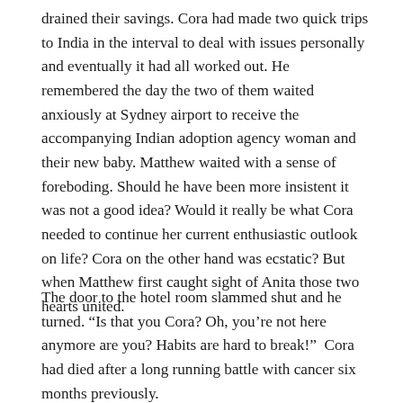drained their savings. Cora had made two quick trips to India in the interval to deal with issues personally and eventually it had all worked out. He remembered the day the two of them waited anxiously at Sydney airport to receive the accompanying Indian adoption agency woman and their new baby. Matthew waited with a sense of foreboding. Should he have been more insistent it was not a good idea? Would it really be what Cora needed to continue her current enthusiastic outlook on life? Cora on the other hand was ecstatic? But when Matthew first caught sight of Anita those two hearts united.
The door to the hotel room slammed shut and he turned. “Is that you Cora? Oh, you’re not here anymore are you? Habits are hard to break!”  Cora had died after a long running battle with cancer six months previously.